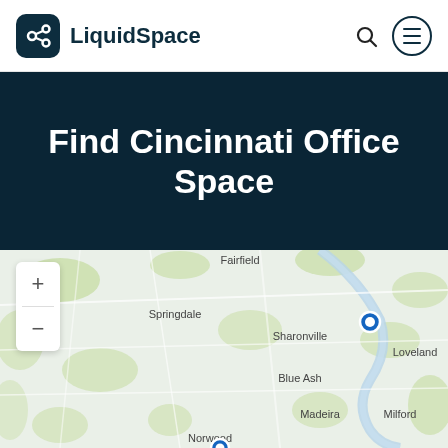[Figure (logo): LiquidSpace logo: dark teal rounded square icon with a stylized path/link symbol, followed by bold text 'LiquidSpace']
Find Cincinnati Office Space
[Figure (map): Street map of the Cincinnati metro area showing suburbs including Fairfield, Springdale, Sharonville, Blue Ash, Loveland, Madeira, Milford, and Norwood. A blue circular marker is visible near Loveland. Map zoom controls (+/-) are displayed on the left side.]